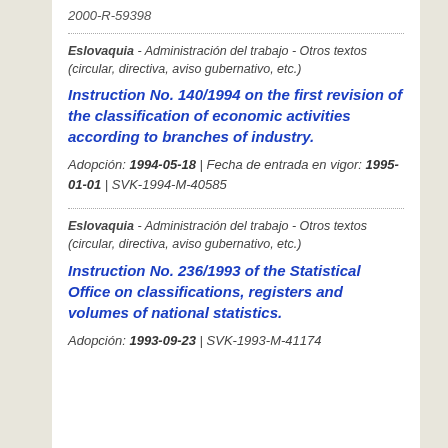2000-R-59398
Eslovaquia - Administración del trabajo - Otros textos (circular, directiva, aviso gubernativo, etc.)
Instruction No. 140/1994 on the first revision of the classification of economic activities according to branches of industry.
Adopción: 1994-05-18 | Fecha de entrada en vigor: 1995-01-01 | SVK-1994-M-40585
Eslovaquia - Administración del trabajo - Otros textos (circular, directiva, aviso gubernativo, etc.)
Instruction No. 236/1993 of the Statistical Office on classifications, registers and volumes of national statistics.
Adopción: 1993-09-23 | SVK-1993-M-41174